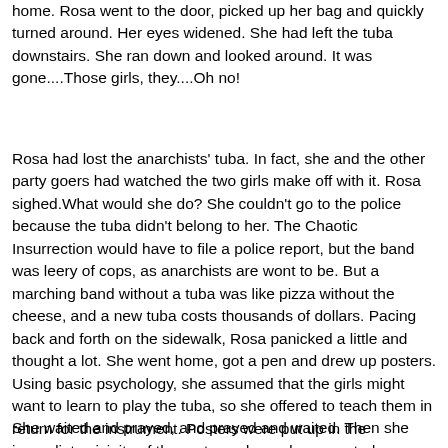home. Rosa went to the door, picked up her bag and quickly turned around. Her eyes widened. She had left the tuba downstairs. She ran down and looked around. It was gone....Those girls, they....Oh no!
Rosa had lost the anarchists' tuba. In fact, she and the other party goers had watched the two girls make off with it. Rosa sighed.What would she do? She couldn't go to the police because the tuba didn't belong to her. The Chaotic Insurrection would have to file a police report, but the band was leery of cops, as anarchists are wont to be. But a marching band without a tuba was like pizza without the cheese, and a new tuba costs thousands of dollars. Pacing back and forth on the sidewalk, Rosa panicked a little and thought a lot. She went home, got a pen and drew up posters. Using basic psychology, she assumed that the girls might want to learn to play the tuba, so she offered to teach them in return for the instrument. Posters were put up in the immediate vicinity of the party, and an ad was posted on Craig's list.
She waited and prayed, and prayed and waited. Then she